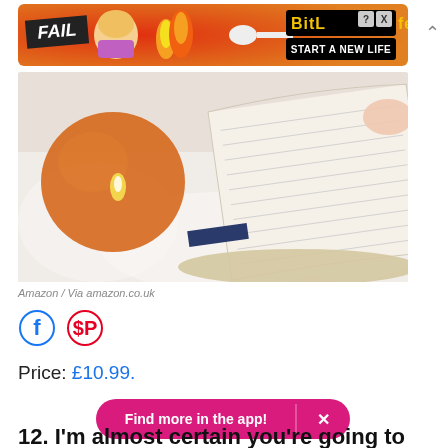[Figure (infographic): BitLife mobile game advertisement banner with FAIL text, cartoon character, flames, and START A NEW LIFE tagline]
[Figure (photo): An open book being held open next to an orange glass candle holder on a white fluffy surface]
Amazon / Via amazon.co.uk
[Figure (infographic): Facebook and Pinterest social sharing icon circles]
Price: £10.99.
[Figure (infographic): Pink rounded button saying 'Find more in the app!' with X close button]
12. I'm almost certain you're going to